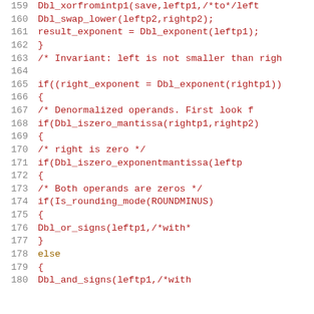[Figure (screenshot): Source code listing showing lines 159-180 of a C program implementing floating point arithmetic, with syntax highlighting. Line numbers in gray on left, code in red/brown/dark colors on white background.]